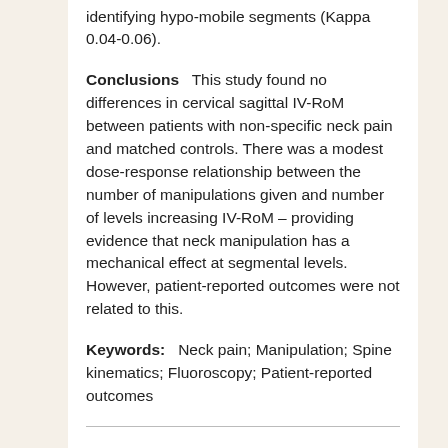identifying hypo-mobile segments (Kappa 0.04-0.06).
Conclusions   This study found no differences in cervical sagittal IV-RoM between patients with non-specific neck pain and matched controls. There was a modest dose-response relationship between the number of manipulations given and number of levels increasing IV-RoM – providing evidence that neck manipulation has a mechanical effect at segmental levels. However, patient-reported outcomes were not related to this.
Keywords:   Neck pain; Manipulation; Spine kinematics; Fluoroscopy; Patient-reported outcomes